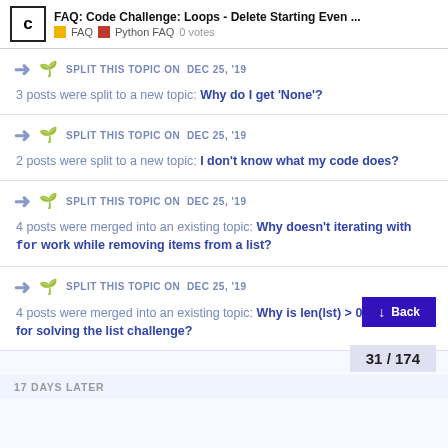FAQ: Code Challenge: Loops - Delete Starting Even ... | FAQ | Python FAQ | 0 votes
SPLIT THIS TOPIC ON DEC 25, '19
3 posts were split to a new topic: Why do I get ‘None’?
SPLIT THIS TOPIC ON DEC 25, '19
2 posts were split to a new topic: I don’t know what my code does?
SPLIT THIS TOPIC ON DEC 25, '19
4 posts were merged into an existing topic: Why doesn’t iterating with for work while removing items from a list?
SPLIT THIS TOPIC ON DEC 25, '19
4 posts were merged into an existing topic: Why is len(lst) > 0 necessary for solving the list challenge?
17 DAYS LATER